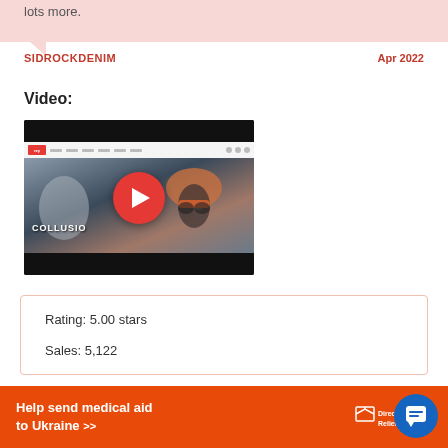lots more.
SIDROCKDENIM   Apr 2022
Video:
[Figure (screenshot): Video thumbnail showing a fashion website (rey theme) with a woman wearing a red hat and sunglasses, with a red play button overlay. Text reads COLLUSION.]
Rating: 5.00 stars
Sales: 5,122
Help send medical aid to Ukraine >>